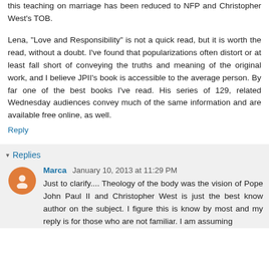this teaching on marriage has been reduced to NFP and Christopher West's TOB.
Lena, "Love and Responsibility" is not a quick read, but it is worth the read, without a doubt. I've found that popularizations often distort or at least fall short of conveying the truths and meaning of the original work, and I believe JPII's book is accessible to the average person. By far one of the best books I've read. His series of 129, related Wednesday audiences convey much of the same information and are available free online, as well.
Reply
Replies
Marca  January 10, 2013 at 11:29 PM
Just to clarify.... Theology of the body was the vision of Pope John Paul II and Christopher West is just the best know author on the subject. I figure this is know by most and my reply is for those who are not familiar. I am assuming